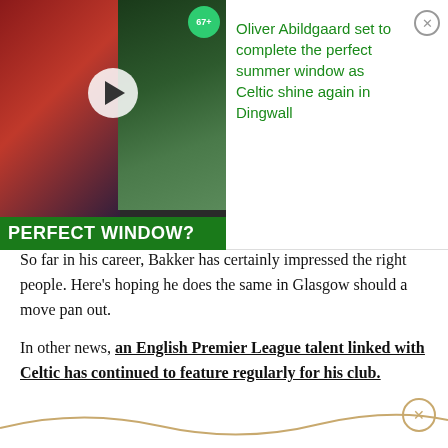[Figure (other): Video thumbnail showing a footballer in red jersey on left, Celtic players on right, with play button overlay, 67+ badge, and 'PERFECT WINDOW?' green text bar at bottom]
Oliver Abildgaard set to complete the perfect summer window as Celtic shine again in Dingwall
So far in his career, Bakker has certainly impressed the right people. Here's hoping he does the same in Glasgow should a move pan out.
In other news, an English Premier League talent linked with Celtic has continued to feature regularly for his club.